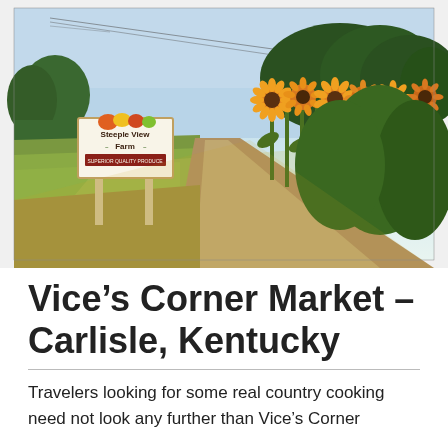[Figure (photo): Outdoor farm scene at dusk showing a 'Steeple View Farm - Superior Quality Produce' sign on the left with colorful fruit/vegetable graphics, green fields, a dirt path leading into the distance, and tall sunflowers in bloom along the right side, with trees in the background under a clear sky with power lines visible.]
Vice’s Corner Market – Carlisle, Kentucky
Travelers looking for some real country cooking need not look any further than Vice’s Corner